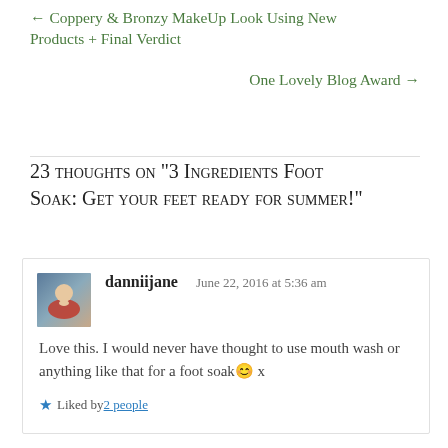← Coppery & Bronzy MakeUp Look Using New Products + Final Verdict
One Lovely Blog Award →
23 thoughts on "3 Ingredients Foot Soak: Get your feet ready for summer!"
danniijane  June 22, 2016 at 5:36 am
Love this. I would never have thought to use mouth wash or anything like that for a foot soak😊 x
★ Liked by 2 people